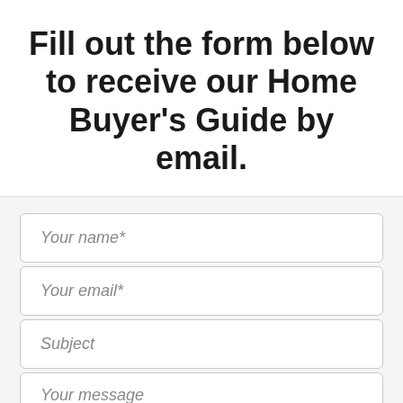Fill out the form below to receive our Home Buyer's Guide by email.
Your name*
Your email*
Subject
Your message